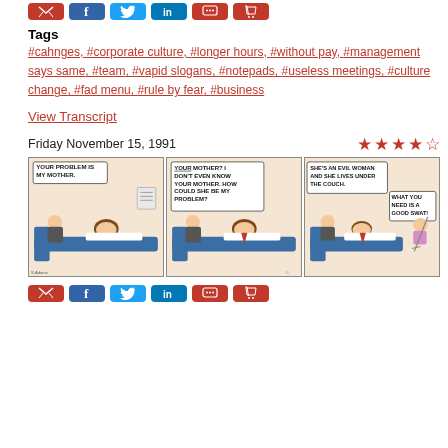[Figure (other): Social sharing buttons row (email, facebook, twitter, linkedin, comment, cart) at top]
Tags
#cahnges, #corporate culture, #longer hours, #without pay, #management says same, #team, #vapid slogans, #notepads, #useless meetings, #culture change, #fad menu, #rule by fear, #business
View Transcript
Friday November 15, 1991
[Figure (illustration): Three-panel Dilbert comic strip. Panel 1: Patient on couch says 'YOUR PROBLEM IS MY MOTHER.' Panel 2: Therapist replies 'YOUR MOTHER? I DON'T EVEN KNOW YOUR MOTHER. HOW COULD SHE BE MY PROBLEM?' Panel 3: Caption 'SHE'S AN EVIL WOMAN AND SHE LIVES UNDER THE COUCH.' with old woman appearing, therapist says 'WHAT YOU NEED IS A GOOD SWAT!']
[Figure (other): Social sharing buttons row (email, facebook, twitter, linkedin, comment, cart) at bottom]